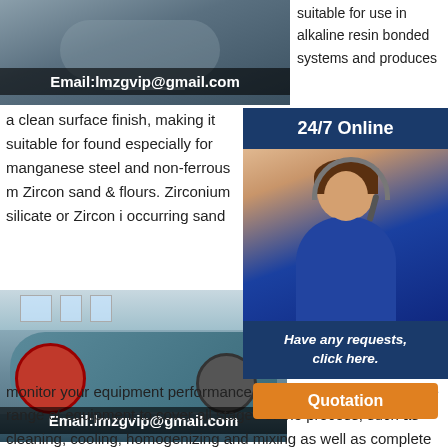[Figure (photo): Top image with email overlay showing Email:lmzgvip@gmail.com on dark background, appears to be industrial equipment]
suitable for use in alkaline resin bonded systems and produces a clean surface finish, making it suitable for found especially for manganese steel and non-ferrous m Zircon sand & flours. Zirconium silicate or Zircon i occurring sand
[Figure (photo): Bottom photo of industrial crushing/mining equipment in a large warehouse with Email:lmzgvip@gmail.com overlay]
[Figure (photo): Sidebar showing 24/7 Online banner, customer service representative with headset, Have any requests click here text, and Quotation button]
Mo & F Equ Gro Digital solutions to ensure you have the right foundry data to monitor your equipment performance Sand plant solutions a wide range of equipment to cover all stages of the process, such as cleaning, cooling, homogenizing and mixing as well as complete in-